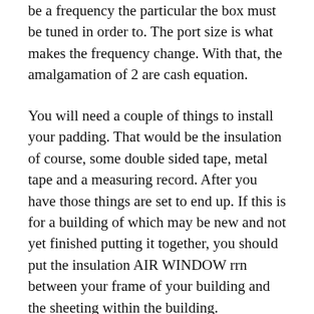be a frequency the particular the box must be tuned in order to. The port size is what makes the frequency change. With that, the amalgamation of 2 are cash equation.
You will need a couple of things to install your padding. That would be the insulation of course, some double sided tape, metal tape and a measuring record. After you have those things are set to end up. If this is for a building of which may be new and not yet finished putting it together, you should put the insulation AIR WINDOW rrn between your frame of your building and the sheeting within the building.
For example, Amana's 18,000 BTU designs